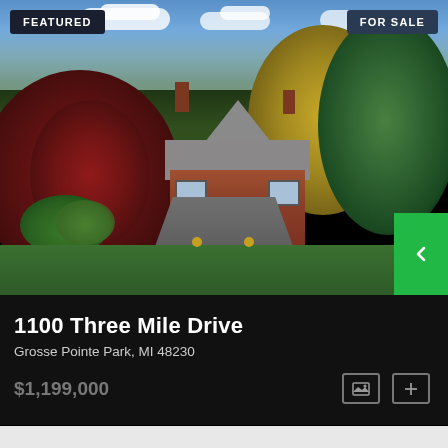[Figure (photo): Aerial view of a large Tudor-style brick home with red and autumn-colored trees, green lawn, and driveway, photographed in fall season.]
1100 Three Mile Drive
Grosse Pointe Park, MI 48230
$1,199,000